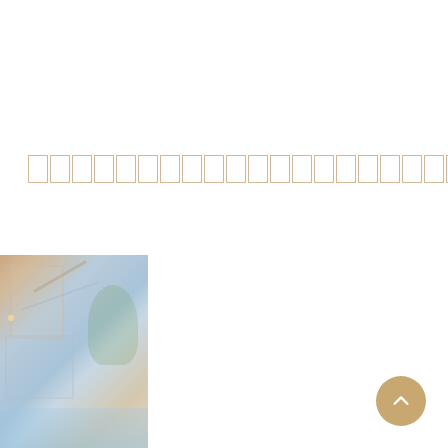[redacted/unreadable title text represented as outlined boxes]
[Figure (photo): Exterior photo of a modern luxury house with architectural lines, large windows with warm interior lighting, trees in background, and a pool area at the bottom. The image has a light, washed-out appearance with soft blues, beiges, and greens.]